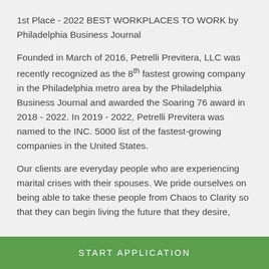1st Place - 2022 BEST WORKPLACES TO WORK by Philadelphia Business Journal
Founded in March of 2016, Petrelli Previtera, LLC was recently recognized as the 8th fastest growing company in the Philadelphia metro area by the Philadelphia Business Journal and awarded the Soaring 76 award in 2018 - 2022. In 2019 - 2022, Petrelli Previtera was named to the INC. 5000 list of the fastest-growing companies in the United States.
Our clients are everyday people who are experiencing marital crises with their spouses. We pride ourselves on being able to take these people from Chaos to Clarity so that they can begin living the future that they desire,
START APPLICATION